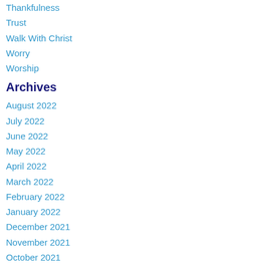Thankfulness
Trust
Walk With Christ
Worry
Worship
Archives
August 2022
July 2022
June 2022
May 2022
April 2022
March 2022
February 2022
January 2022
December 2021
November 2021
October 2021
September 2021
August 2021
July 2021